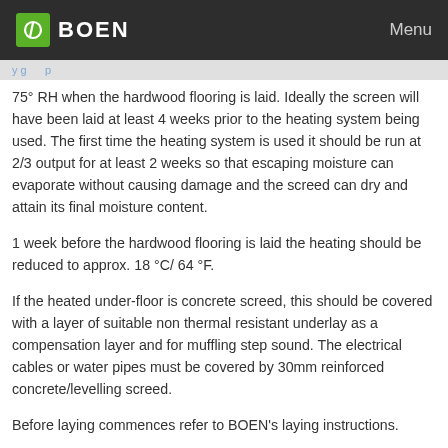BOEN  Menu
75° RH when the hardwood flooring is laid. Ideally the screen will have been laid at least 4 weeks prior to the heating system being used. The first time the heating system is used it should be run at 2/3 output for at least 2 weeks so that escaping moisture can evaporate without causing damage and the screed can dry and attain its final moisture content.
1 week before the hardwood flooring is laid the heating should be reduced to approx. 18 °C/ 64 °F.
If the heated under-floor is concrete screed, this should be covered with a layer of suitable non thermal resistant underlay as a compensation layer and for muffling step sound. The electrical cables or water pipes must be covered by 30mm reinforced concrete/levelling screed.
Before laying commences refer to BOEN's laying instructions.